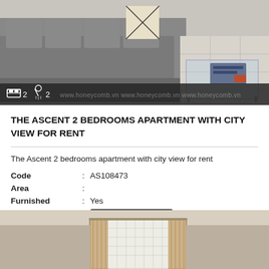[Figure (photo): Interior photo of apartment living room with grey sofa and glass coffee table on tiled floor, with www.honeycomb.vn watermark]
THE ASCENT 2 BEDROOMS APARTMENT WITH CITY VIEW FOR RENT
The Ascent 2 bedrooms apartment with city view for rent
Code : AS108473
Area :
Furnished : Yes
Price : 950 USD / Month
[Figure (photo): Interior photo of apartment bedroom with neutral walls and window with curtains]